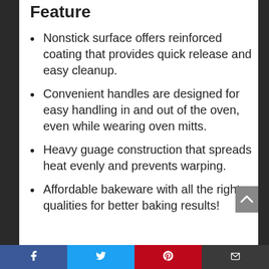Feature
Nonstick surface offers reinforced coating that provides quick release and easy cleanup.
Convenient handles are designed for easy handling in and out of the oven, even while wearing oven mitts.
Heavy guage construction that spreads heat evenly and prevents warping.
Affordable bakeware with all the right qualities for better baking results!
Facebook | Twitter | Pinterest | Email